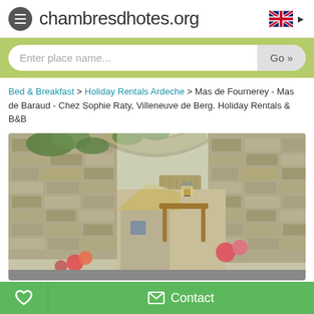chambresdhotes.org
Enter place name...
Bed & Breakfast > Holiday Rentals Ardeche > Mas de Fournerey - Mas de Baraud - Chez Sophie Raty, Villeneuve de Berg. Holiday Rentals & B&B
[Figure (photo): Photo of a rustic stone farmhouse entrance with an arched wooden gate, vine-covered stone walls, and colorful flowers in a French countryside setting.]
Contact